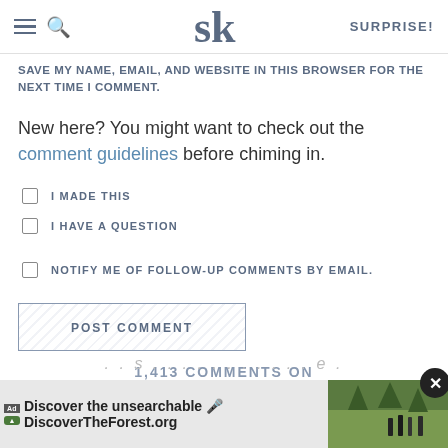SURPRISE!
SAVE MY NAME, EMAIL, AND WEBSITE IN THIS BROWSER FOR THE NEXT TIME I COMMENT.
New here? You might want to check out the comment guidelines before chiming in.
I MADE THIS
I HAVE A QUESTION
NOTIFY ME OF FOLLOW-UP COMMENTS BY EMAIL.
POST COMMENT
1,413 COMMENTS ON
[Figure (screenshot): Ad banner: Discover the unsearchable / DiscoverTheForest.org with forest photo and close button]